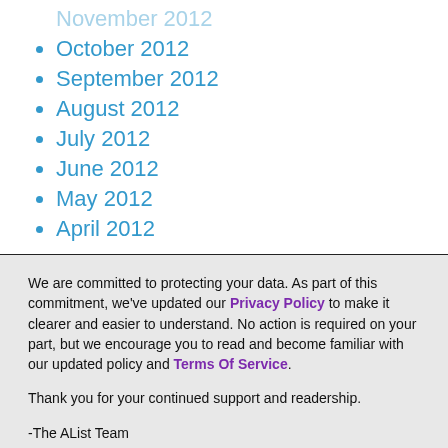November 2012
October 2012
September 2012
August 2012
July 2012
June 2012
May 2012
April 2012
We are committed to protecting your data. As part of this commitment, we've updated our Privacy Policy to make it clearer and easier to understand. No action is required on your part, but we encourage you to read and become familiar with our updated policy and Terms Of Service.
Thank you for your continued support and readership.
-The AList Team